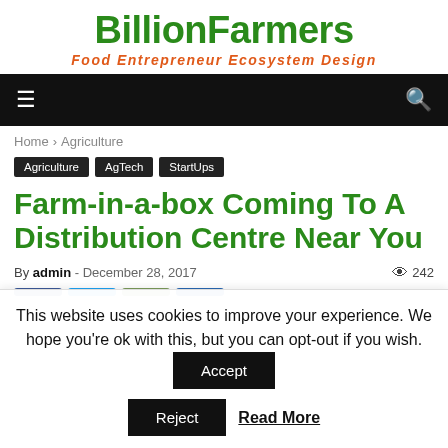BillionFarmers
Food Entrepreneur Ecosystem Design
Navigation bar with hamburger menu and search icon
Home › Agriculture
Agriculture
AgTech
StartUps
Farm-in-a-box Coming To A Distribution Centre Near You
By admin - December 28, 2017  242
This website uses cookies to improve your experience. We hope you're ok with this, but you can opt-out if you wish.
Accept
Reject
Read More